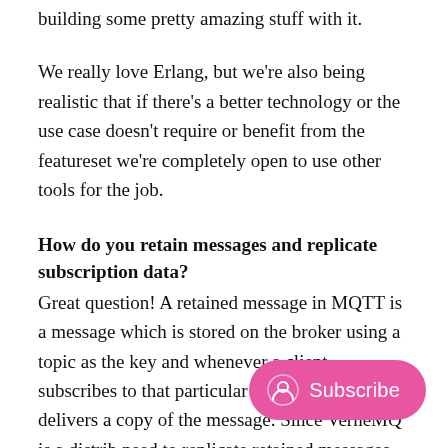building some pretty amazing stuff with it.
We really love Erlang, but we're also being realistic that if there's a better technology or the use case doesn't require or benefit from the featureset we're completely open to use other tools for the job.
How do you retain messages and replicate subscription data?
Great question! A retained message in MQTT is a message which is stored on the broker using a topic as the key and whenever a client subscribes to that particular topic the broker delivers a copy of the message. Since VerneMQ is a distrib... need to replicate retained messages an... currently use an implementation of the Plumtree